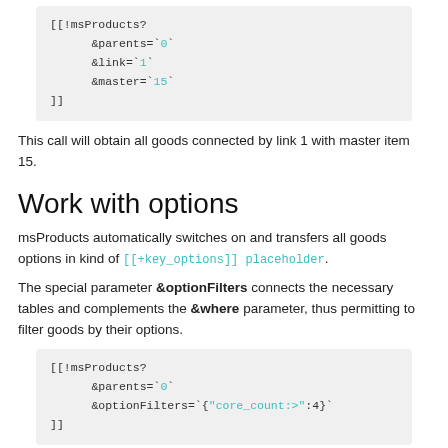[[!msProducts?
    &parents=`0`
    &link=`1`
    &master=`15`
]]
This call will obtain all goods connected by link 1 with master item 15.
Work with options
msProducts automatically switches on and transfers all goods options in kind of [[+key_options]] placeholder.
The special parameter &optionFilters connects the necessary tables and complements the &where parameter, thus permitting to filter goods by their options.
[[!msProducts?
    &parents=`0`
    &optionFilters=`{"core_count:>":4}`
]]